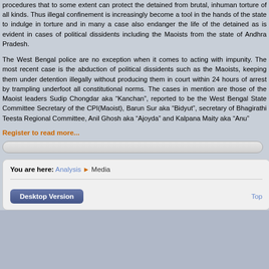procedures that to some extent can protect the detained from brutal, inhuman torture of all kinds. Thus illegal confinement is increasingly become a tool in the hands of the state to indulge in torture and in many a case also endanger the life of the detained as is evident in cases of political dissidents including the Maoists from the state of Andhra Pradesh.
The West Bengal police are no exception when it comes to acting with impunity. The most recent case is the abduction of political dissidents such as the Maoists, keeping them under detention illegally without producing them in court within 24 hours of arrest by trampling underfoot all constitutional norms. The cases in mention are those of the Maoist leaders Sudip Chongdar aka “Kanchan”, reported to be the West Bengal State Committee Secretary of the CPI(Maoist), Barun Sur aka “Bidyut”, secretary of Bhagirathi Teesta Regional Committee, Anil Ghosh aka “Ajoyda” and Kalpana Maity aka “Anu”
Register to read more...
[Figure (screenshot): Input bar / search field]
You are here: Analysis ▶ Media
Desktop Version | Top